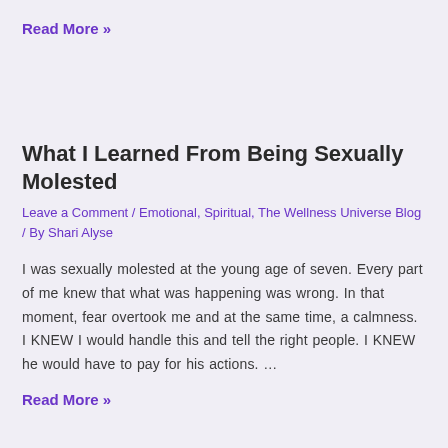Read More »
What I Learned From Being Sexually Molested
Leave a Comment / Emotional, Spiritual, The Wellness Universe Blog / By Shari Alyse
I was sexually molested at the young age of seven. Every part of me knew that what was happening was wrong. In that moment, fear overtook me and at the same time, a calmness. I KNEW I would handle this and tell the right people. I KNEW he would have to pay for his actions. …
Read More »